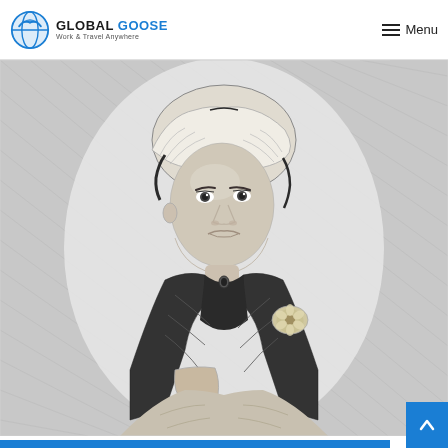GLOBAL GOOSE — Work & Travel Anywhere | Menu
[Figure (illustration): Black and white pencil sketch portrait of a 19th-century woman wearing a bonnet with ruffled brim and dark shawl, holding gloves, facing slightly left.]